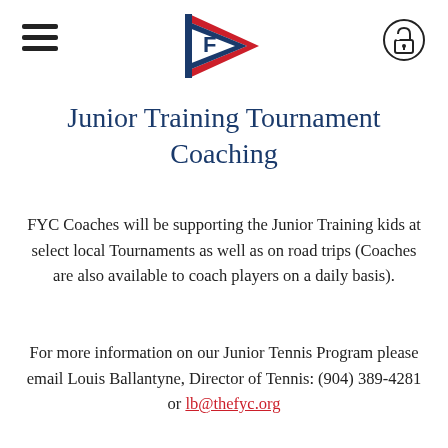FYC logo with hamburger menu and lock icon
Junior Training Tournament Coaching
FYC Coaches will be supporting the Junior Training kids at select local Tournaments as well as on road trips (Coaches are also available to coach players on a daily basis).
For more information on our Junior Tennis Program please email Louis Ballantyne, Director of Tennis: (904) 389-4281 or lb@thefyc.org